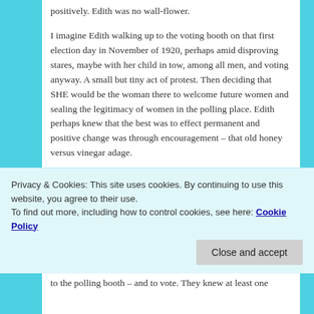positively. Edith was no wall-flower.
I imagine Edith walking up to the voting booth on that first election day in November of 1920, perhaps amid disproving stares, maybe with her child in tow, among all men, and voting anyway. A small but tiny act of protest. Then deciding that SHE would be the woman there to welcome future women and sealing the legitimacy of women in the polling place. Edith perhaps knew that the best was to effect permanent and positive change was through encouragement – that old honey versus vinegar adage.
Edith's immediate involvement in the electoral process
Privacy & Cookies: This site uses cookies. By continuing to use this website, you agree to their use.
To find out more, including how to control cookies, see here: Cookie Policy
to the polling booth – and to vote. They knew at least one